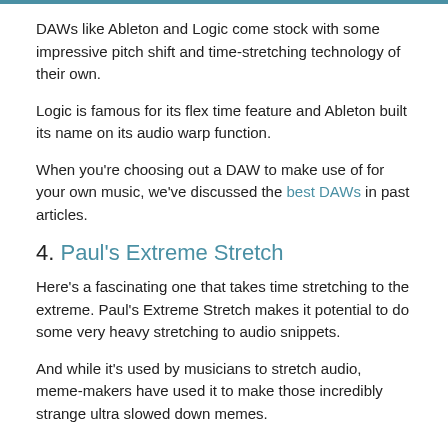DAWs like Ableton and Logic come stock with some impressive pitch shift and time-stretching technology of their own.
Logic is famous for its flex time feature and Ableton built its name on its audio warp function.
When you're choosing out a DAW to make use of for your own music, we've discussed the best DAWs in past articles.
4. Paul's Extreme Stretch
Here's a fascinating one that takes time stretching to the extreme. Paul's Extreme Stretch makes it potential to do some very heavy stretching to audio snippets.
And while it's used by musicians to stretch audio, meme-makers have used it to make those incredibly strange ultra slowed down memes.